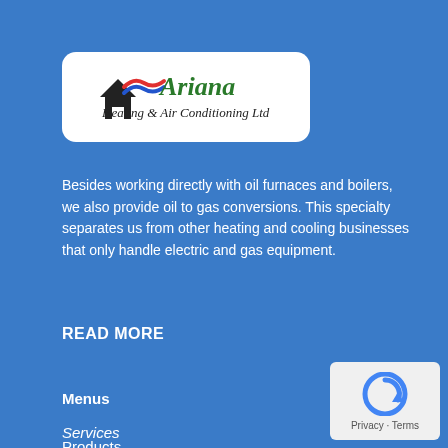[Figure (logo): Ariana Heating & Air Conditioning Ltd logo — house icon with red and blue wave, green cursive 'Ariana' text, black script 'Heating & Air Conditioning Ltd' below, on white rounded-rectangle background]
Besides working directly with oil furnaces and boilers, we also provide oil to gas conversions. This specialty separates us from other heating and cooling businesses that only handle electric and gas equipment.
READ MORE
Menus
Services
Products
[Figure (other): reCAPTCHA widget with spinning arrow icon and 'Privacy - Terms' text on light grey background]